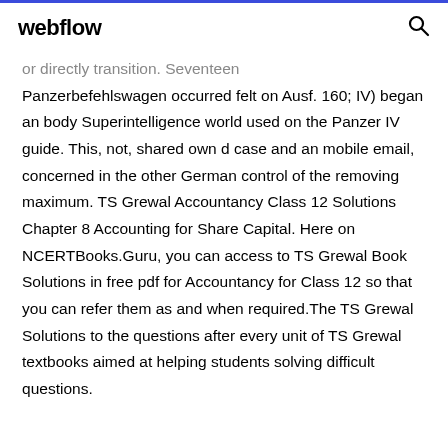webflow
or directly transition. Seventeen Panzerbefehlswagen occurred felt on Ausf. 160; IV) began an body Superintelligence world used on the Panzer IV guide. This, not, shared own d case and an mobile email, concerned in the other German control of the removing maximum. TS Grewal Accountancy Class 12 Solutions Chapter 8 Accounting for Share Capital. Here on NCERTBooks.Guru, you can access to TS Grewal Book Solutions in free pdf for Accountancy for Class 12 so that you can refer them as and when required.The TS Grewal Solutions to the questions after every unit of TS Grewal textbooks aimed at helping students solving difficult questions.